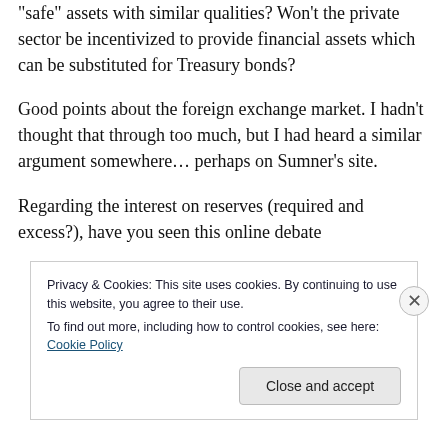“safe” assets with similar qualities? Won’t the private sector be incentivized to provide financial assets which can be substituted for Treasury bonds?
Good points about the foreign exchange market. I hadn’t thought that through too much, but I had heard a similar argument somewhere… perhaps on Sumner’s site.
Regarding the interest on reserves (required and excess?), have you seen this online debate
Privacy & Cookies: This site uses cookies. By continuing to use this website, you agree to their use.
To find out more, including how to control cookies, see here: Cookie Policy